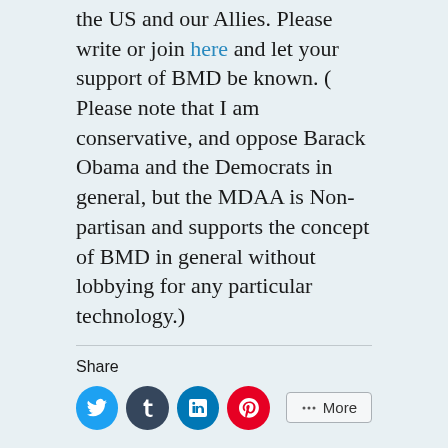the US and our Allies. Please write or join here and let your support of BMD be known. ( Please note that I am conservative, and oppose Barack Obama and the Democrats in general, but the MDAA is Non-partisan and supports the concept of BMD in general without lobbying for any particular technology.)
[Figure (infographic): Social share buttons: Twitter (blue circle), Tumblr (dark blue circle), LinkedIn (blue circle), Pinterest (red circle), and a More button with share icon]
Like this:
Loading...